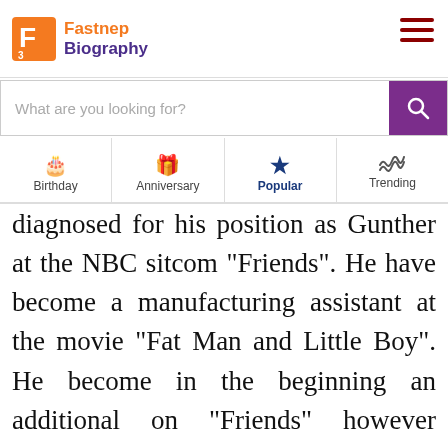Fastnep Biography
What are you looking for?
Birthday | Anniversary | Popular | Trending
diagnosed for his position as Gunther at the NBC sitcom “Friends”. He have become a manufacturing assistant at the movie “Fat Man and Little Boy”. He become in the beginning an additional on “Friends” however become solid as Gunther due to the fact he become the best person who knew the way to function an coffee machine. He become a member of a scholar theatre group, the Clemson Players throughout his time at Clemson. Additionally, he may be visible as